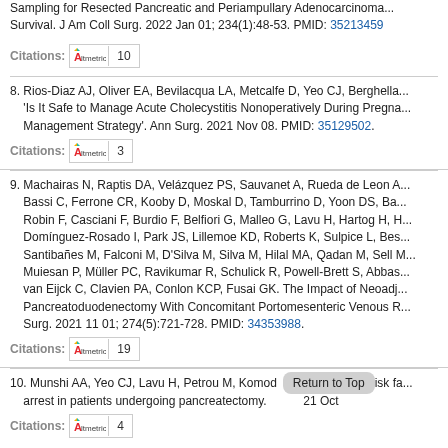Sampling for Resected Pancreatic and Periampullary Adenocarcinoma... Survival. J Am Coll Surg. 2022 Jan 01; 234(1):48-53. PMID: 35213459
Citations: [Altmetric] 10
8. Rios-Diaz AJ, Oliver EA, Bevilacqua LA, Metcalfe D, Yeo CJ, Berghella... 'Is It Safe to Manage Acute Cholecystitis Nonoperatively During Pregna... Management Strategy'. Ann Surg. 2021 Nov 08. PMID: 35129502.
Citations: [Altmetric] 3
9. Machairas N, Raptis DA, Velázquez PS, Sauvanet A, Rueda de Leon A... Bassi C, Ferrone CR, Kooby D, Moskal D, Tamburrino D, Yoon DS, Ba... Robin F, Casciani F, Burdio F, Belfiori G, Malleo G, Lavu H, Hartog H, H... Domínguez-Rosado I, Park JS, Lillemoe KD, Roberts K, Sulpice L, Bes... Santibañes M, Falconi M, D'Silva M, Silva M, Hilal MA, Qadan M, Sell M... Muiesan P, Müller PC, Ravikumar R, Schulick R, Powell-Brett S, Abbas... van Eijck C, Clavien PA, Conlon KCP, Fusai GK. The Impact of Neoadj... Pancreatoduodenectomy With Concomitant Portomesenteric Venous R... Surg. 2021 11 01; 274(5):721-728. PMID: 34353988.
Citations: [Altmetric] 19
10. Munshi AA, Yeo CJ, Lavu H, Petrou M, Komod... isk fa... arrest in patients undergoing pancreatectomy. ... 21 Oct
Citations: [Altmetric] 4